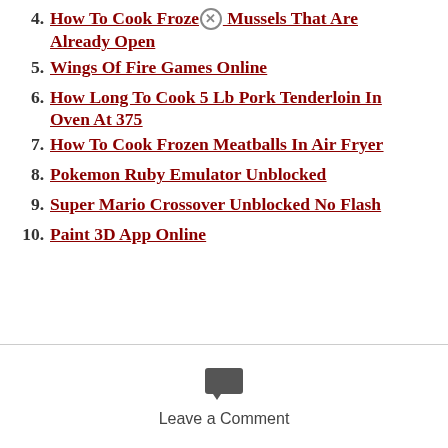4. How To Cook Frozen Mussels That Are Already Open
5. Wings Of Fire Games Online
6. How Long To Cook 5 Lb Pork Tenderloin In Oven At 375
7. How To Cook Frozen Meatballs In Air Fryer
8. Pokemon Ruby Emulator Unblocked
9. Super Mario Crossover Unblocked No Flash
10. Paint 3D App Online
Leave a Comment